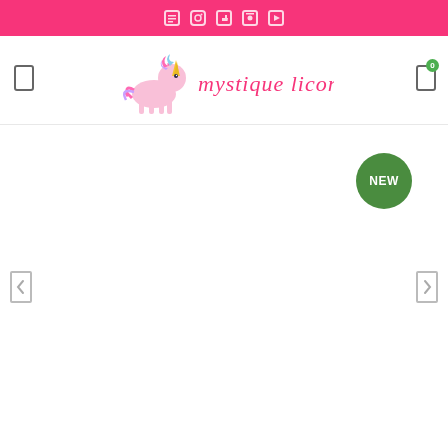Social media icon bar (pink background)
[Figure (logo): Mystique Licorne logo with unicorn character and cursive pink text 'mystique licorne']
[Figure (infographic): Product display area with NEW badge in green circle, and left/right navigation arrows]